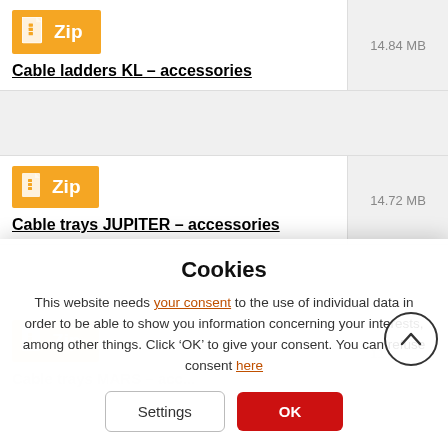[Figure (screenshot): Download row for 'Cable ladders KL - accessories' zip file, 14.84 MB]
[Figure (screenshot): Download row for 'Cable trays JUPITER - accessories' zip file, 14.72 MB]
[Figure (screenshot): Partially visible download row for 'Cable trays MARS - accessories' zip file, 11.08 MB (faded behind cookie overlay)]
Cookies
This website needs your consent to the use of individual data in order to be able to show you information concerning your interests, among other things. Click ‘OK’ to give your consent. You can refuse consent here
Settings
OK